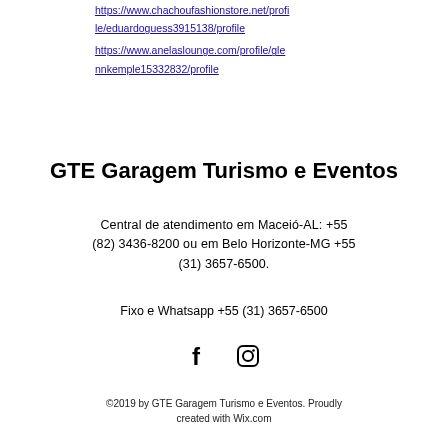https://www.chachoufashionstore.net/profile/eduardoguess3915138/profile
https://www.anelaslounge.com/profile/glennkemple15332832/profile
GTE Garagem Turismo e Eventos
Central de atendimento em Maceió-AL: +55 (82) 3436-8200 ou em Belo Horizonte-MG +55 (31) 3657-6500.
Fixo e Whatsapp +55 (31) 3657-6500
[Figure (illustration): Social media icons: Facebook (f) and Instagram (camera) in black]
©2019 by GTE Garagem Turismo e Eventos. Proudly created with Wix.com